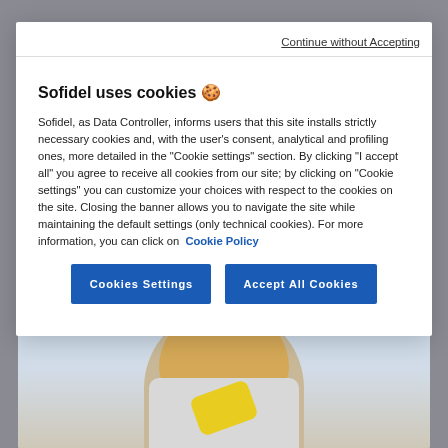Continue without Accepting
Sofidel uses cookies 🍪
Sofidel, as Data Controller, informs users that this site installs strictly necessary cookies and, with the user's consent, analytical and profiling ones, more detailed in the "Cookie settings" section. By clicking "I accept all" you agree to receive all cookies from our site; by clicking on "Cookie settings" you can customize your choices with respect to the cookies on the site. Closing the banner allows you to navigate the site while maintaining the default settings (only technical cookies). For more information, you can click on Cookie Policy
[Figure (photo): Person with blonde hair wearing grey shirt and yellow gloves, partially visible at bottom of page]
Cookies Settings
Accept All Cookies